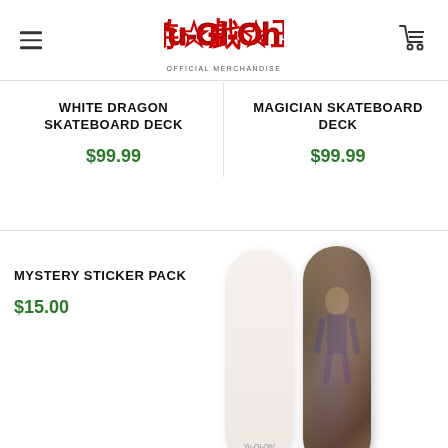[Figure (logo): Yu-Gi-Oh! Official Merchandise logo in red with black outline, stylized Japanese calligraphy aesthetic, with 'OFFICIAL MERCHANDISE' subtitle below]
WHITE DRAGON SKATEBOARD DECK
$99.99
MAGICIAN SKATEBOARD DECK
$99.99
MYSTERY STICKER PACK
$15.00
[Figure (photo): Two skateboard decks side by side: left deck is white/cream colored with Yu-Gi-Oh logo near bottom, right deck features dark reddish-brown artwork with a character figure]